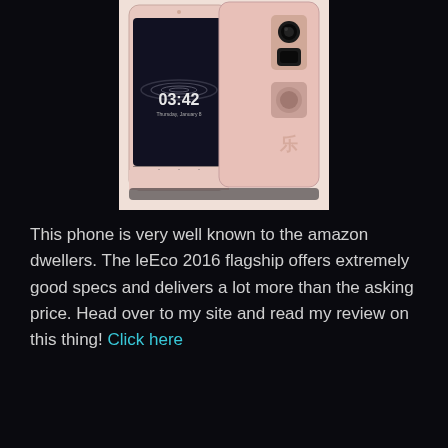[Figure (photo): Two LeEco smartphones (pink/rose gold color) shown side by side — one displaying a lock screen showing time 03:42, and the other showing the back of the phone with dual camera setup. Dark background in the photo.]
This phone is very well known to the amazon dwellers. The leEco 2016 flagship offers extremely good specs and delivers a lot more than the asking price. Head over to my site and read my review on this thing! Click here